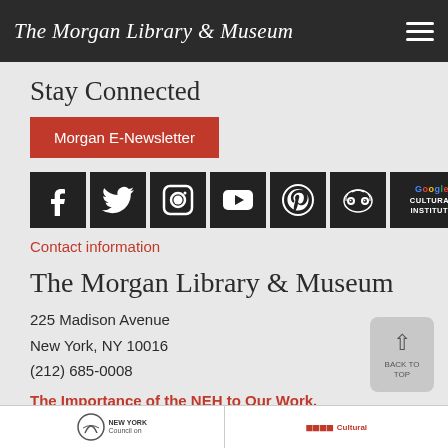The Morgan Library & Museum
Stay Connected
Morgan E-Newsletter
[Figure (other): Social media icons: Facebook, Twitter, Instagram, YouTube, Pinterest, TripAdvisor, Google Cultural Institute]
Contact information
The Morgan Library & Museum
225 Madison Avenue
New York, NY 10016
(212) 685-0008
The Importance of the NEH to Our Work.
Terms and conditions
[Figure (logo): New York Council on the Arts logo and American Cultural logo at bottom footer]